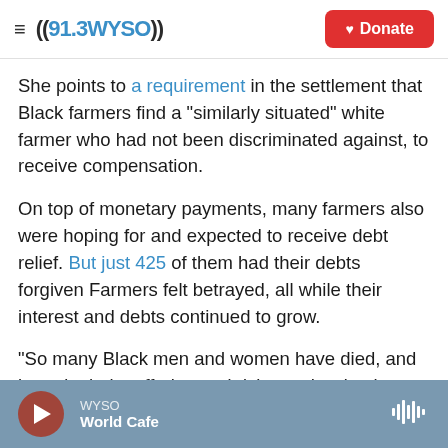((91.3 WYSO)) | Donate
She points to a requirement in the settlement that Black farmers find a "similarly situated" white farmer who had not been discriminated against, to receive compensation.
On top of monetary payments, many farmers also were hoping for and expected to receive debt relief. But just 425 of them had their debts forgiven Farmers felt betrayed, all while their interest and debts continued to grow.
"So many Black men and women have died, and it made their suffering and dying so hard to know
WYSO | World Cafe